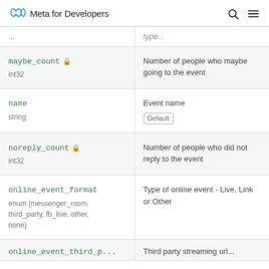Meta for Developers
| Field | Description |
| --- | --- |
| maybe_count 🔒
int32 | Number of people who maybe going to the event |
| name
string | Event name
Default |
| noreply_count 🔒
int32 | Number of people who did not reply to the event |
| online_event_format
enum {messenger_room, third_party, fb_live, other, none} | Type of online event - Live, Link or Other |
| online_event_third_p… | Third party streaming url… |